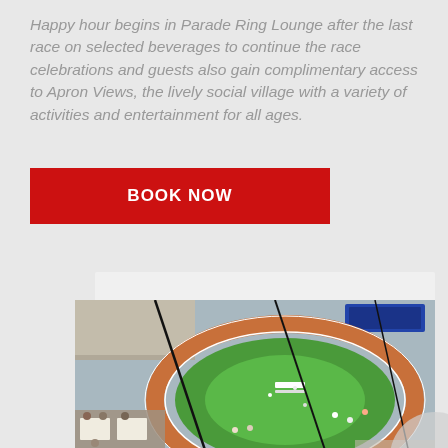Happy hour begins in Parade Ring Lounge after the last race on selected beverages to continue the race celebrations and guests also gain complimentary access to Apron Views, the lively social village with a variety of activities and entertainment for all ages.
BOOK NOW
[Figure (photo): Aerial view of a horse racing track with a green oval infield, spectators in stands, horses on the track, and dining tables visible in the foreground lower left corner.]